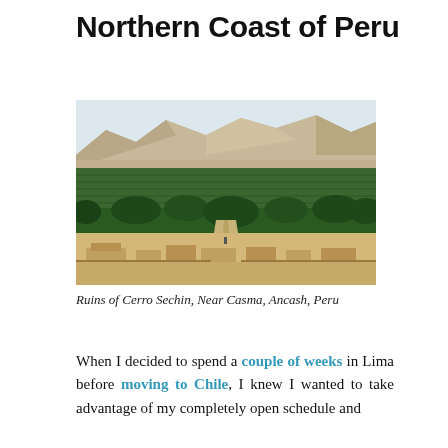Northern Coast of Peru
[Figure (photo): Aerial landscape photograph showing the ruins of Cerro Sechin in the foreground with sandy excavated structures, a road lined with trees, green agricultural fields in the middle ground, and arid mountains in the background under a hazy sky.]
Ruins of Cerro Sechin, Near Casma, Ancash, Peru
When I decided to spend a couple of weeks in Lima before moving to Chile, I knew I wanted to take advantage of my completely open schedule and